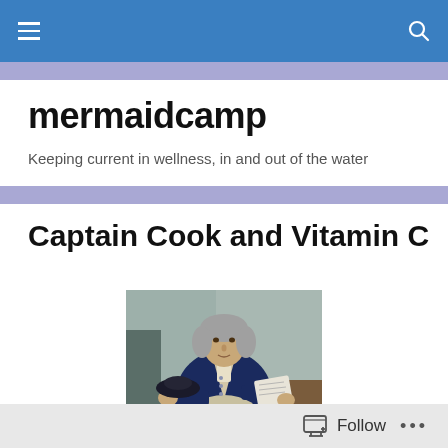mermaidcamp — navigation bar with hamburger menu and search icon
mermaidcamp
Keeping current in wellness, in and out of the water
Captain Cook and Vitamin C
[Figure (photo): Oil painting portrait of Captain James Cook, seated, wearing a dark navy blue coat and light-colored breeches, holding papers, with a neutral background.]
Follow  •••